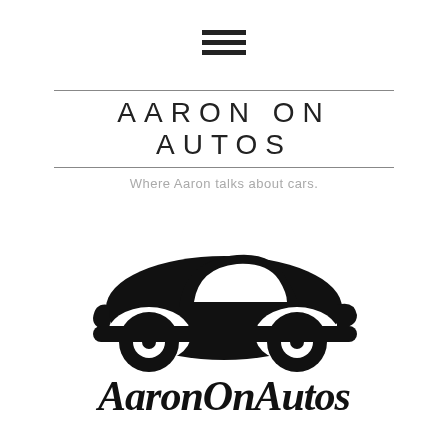[Figure (other): Hamburger menu icon — three horizontal black bars stacked vertically]
AARON ON AUTOS
Where Aaron talks about cars.
[Figure (logo): AaronOnAutos logo: black silhouette of a classic VW Beetle-style car with visible window and two wheels (shown in concentric circles), above bold italic text reading 'AaronOnAutos']